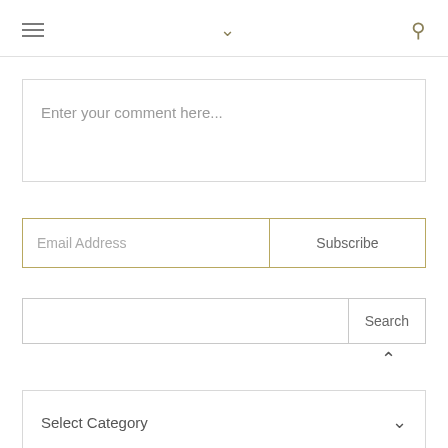≡  ∨  🔍
Enter your comment here...
Email Address
Subscribe
Search
Select Category